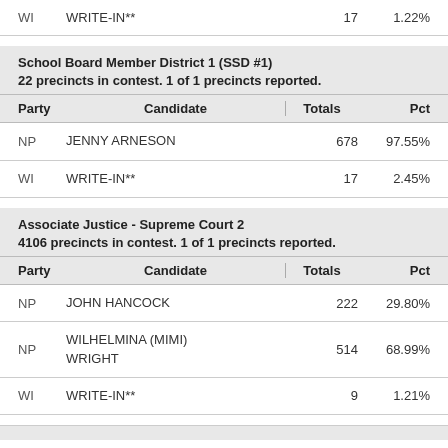| Party | Candidate | Totals | Pct |
| --- | --- | --- | --- |
| WI | WRITE-IN** | 17 | 1.22% |
| Party | Candidate | Totals | Pct |
| --- | --- | --- | --- |
| NP | JENNY ARNESON | 678 | 97.55% |
| WI | WRITE-IN** | 17 | 2.45% |
| Party | Candidate | Totals | Pct |
| --- | --- | --- | --- |
| NP | JOHN HANCOCK | 222 | 29.80% |
| NP | WILHELMINA (MIMI) WRIGHT | 514 | 68.99% |
| WI | WRITE-IN** | 9 | 1.21% |